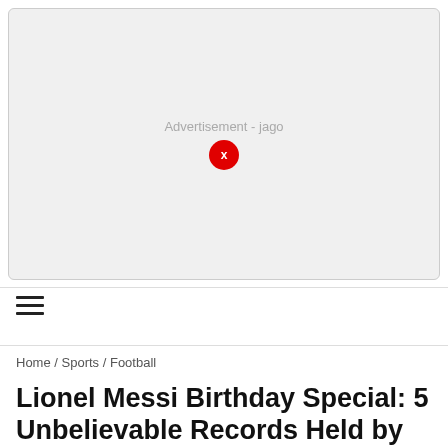[Figure (other): Advertisement placeholder box with light gray background, rounded corners, 'Advertisement - jago' text label in gray, and a red circular close button with white X]
Home / Sports / Football
Lionel Messi Birthday Special: 5 Unbelievable Records Held by the